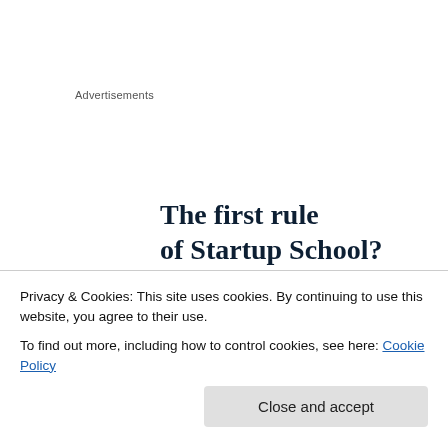Advertisements
[Figure (infographic): Advertisement with bold serif headline 'The first rule of Startup School?' and a dark navy banner showing 'Ask questions']
I'm pleased to share with you my winners badge from the 2017 Annual Bloggers Bash Awards where I came 2nd in
Privacy & Cookies: This site uses cookies. By continuing to use this website, you agree to their use.
To find out more, including how to control cookies, see here: Cookie Policy

Close and accept